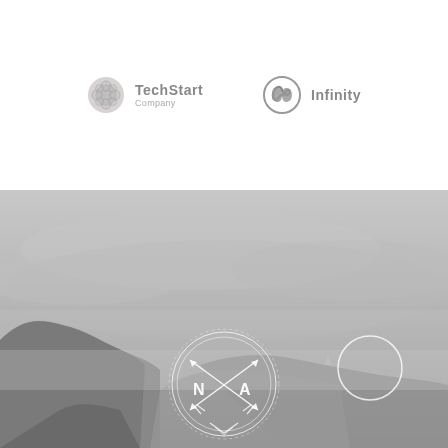[Figure (logo): TechStart Company logo - circular geometric icon in gray with text TechStart and Company below]
[Figure (logo): Infinity logo - infinity symbol icon in gray circle with text Infinity]
[Figure (photo): Grayscale landscape photo of foggy mountains/cliffs with a decorative circular badge logo featuring crossed arrows and letters N and A, and a separate circle outline on the right side]